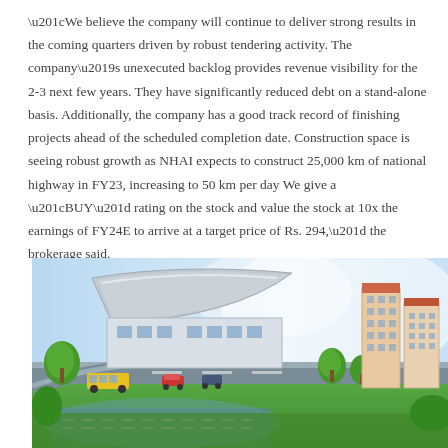“We believe the company will continue to deliver strong results in the coming quarters driven by robust tendering activity. The company’s unexecuted backlog provides revenue visibility for the 2-3 next few years. They have significantly reduced debt on a stand-alone basis. Additionally, the company has a good track record of finishing projects ahead of the scheduled completion date. Construction space is seeing robust growth as NHAI expects to construct 25,000 km of national highway in FY23, increasing to 50 km per day We give a “BUY” rating on the stock and value the stock at 10x the earnings of FY24E to arrive at a target price of Rs. 294,” the brokerage said.
[Figure (illustration): Architectural illustration of a modern infrastructure development scene showing an elevated transit/monorail station with a curved roof, surrounding greenery, high-rise residential buildings on the right, a highway with vehicles below, and a mix of urban development elements.]